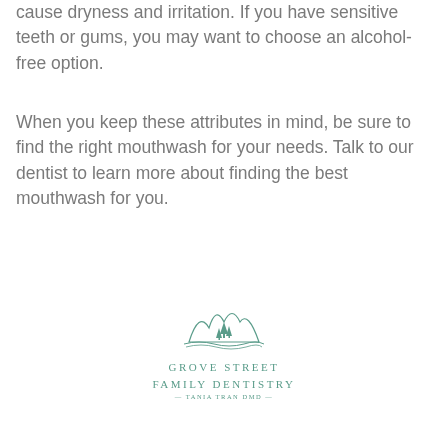cause dryness and irritation. If you have sensitive teeth or gums, you may want to choose an alcohol-free option.
When you keep these attributes in mind, be sure to find the right mouthwash for your needs. Talk to our dentist to learn more about finding the best mouthwash for you.
[Figure (logo): Grove Street Family Dentistry logo with mountain/tree illustration and text 'Grove Street Family Dentistry - Tania Tran DMD -']